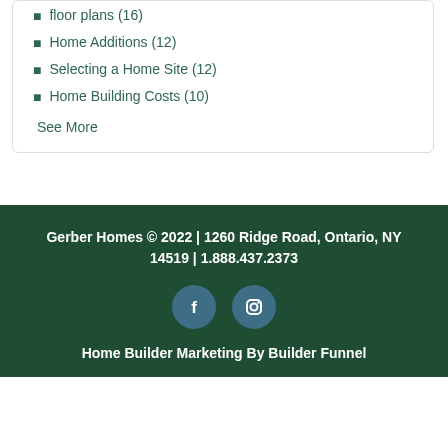floor plans (16)
Home Additions (12)
Selecting a Home Site (12)
Home Building Costs (10)
See More
Gerber Homes © 2022 | 1260 Ridge Road, Ontario, NY 14519 | 1.888.437.2373
Home Builder Marketing By Builder Funnel